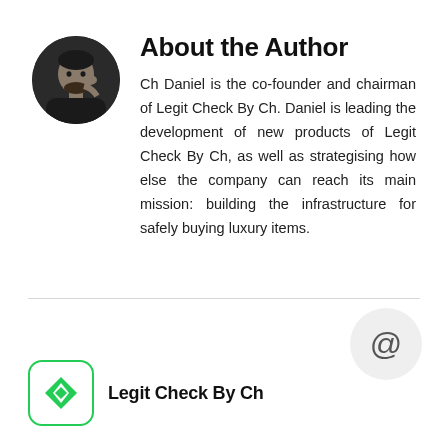[Figure (photo): Circular headshot photo of Ch Daniel, a young man with a beard, shown in black and white, holding his hand near his face]
About the Author
Ch Daniel is the co-founder and chairman of Legit Check By Ch. Daniel is leading the development of new products of Legit Check By Ch, as well as strategising how else the company can reach its main mission: building the infrastructure for safely buying luxury items.
[Figure (logo): Legit Check By Ch app icon — white diamond/kite shape on green background with rounded square border, followed by the text Legit Check By Ch]